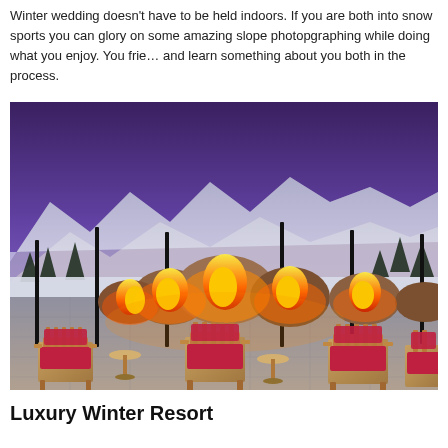Winter wedding doesn't have to be held indoors. If you are both into snow sports you can glory on some amazing slope photopgraphing while doing what you enjoy. You friends will and learn something about you both in the process.
[Figure (photo): Outdoor terrace at a winter mountain resort at dusk. Wooden chairs with red cushions arranged around a large rock fire pit with open flames. Snow-covered mountains and pine trees visible in the background under a purple twilight sky.]
Luxury Winter Resort